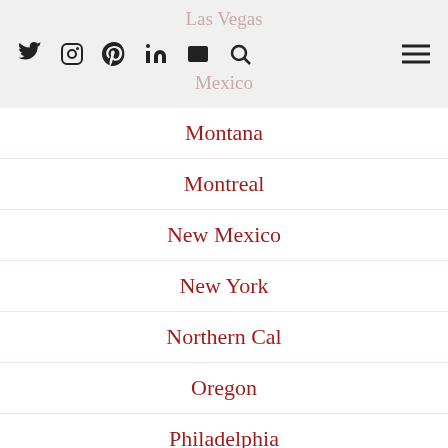Las Vegas | Mexico
Montana
Montreal
New Mexico
New York
Northern Cal
Oregon
Philadelphia
Pittsburgh
Portland
Princess Cruises
Scotland
Seafood
Seattle